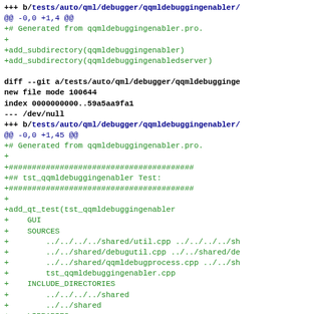--- b/tests/auto/qml/debugger/qqmldebuggingenabler/...
@@ -0,0 +1,4 @@
+# Generated from qqmldebuggingenabler.pro.
+
+add_subdirectory(qqmldebuggingenabler)
+add_subdirectory(qqmldebuggingenabledserver)

diff --git a/tests/auto/qml/debugger/qqmldebugginge...
new file mode 100644
index 0000000000..59a5aa9fa1
--- /dev/null
+++ b/tests/auto/qml/debugger/qqmldebuggingenabler/
@@ -0,0 +1,45 @@
+# Generated from qqmldebuggingenabler.pro.
+
+########################################
+## tst_qqmldebuggingenabler Test:
+########################################
+
+add_qt_test(tst_qqmldebuggingenabler
+    GUI
+    SOURCES
+        ../../../../shared/util.cpp ../../../../sh...
+        ../../shared/debugutil.cpp ../../shared/de...
+        ../../shared/qqmldebugprocess.cpp ../../sh...
+        tst_qqmldebuggingenabler.cpp
+    INCLUDE_DIRECTORIES
+        ../../../../shared
+        ../../shared
+    LIBRARIES
+        Qt::CorePrivate